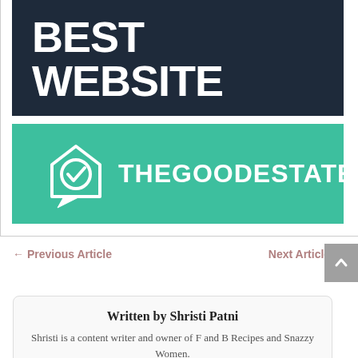[Figure (logo): Two stacked images: top is a dark navy banner with 'BEST WEBSITE 2020' text in white and light blue; bottom is a teal/green banner with a white house-checkmark speech bubble logo and 'THEGOODESTATE' in white bold text]
← Previous Article
Next Article →
Written by Shristi Patni
Shristi is a content writer and owner of F and B Recipes and Snazzy Women.